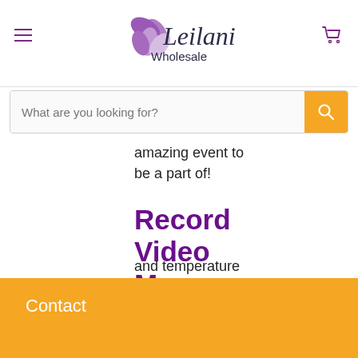[Figure (logo): Leilani Wholesale logo with purple flower and stylized text]
[Figure (screenshot): Search bar with placeholder 'What are you looking for?' and orange search button]
amazing event to be a part of!
Record Video Messages
and temperature
Contact